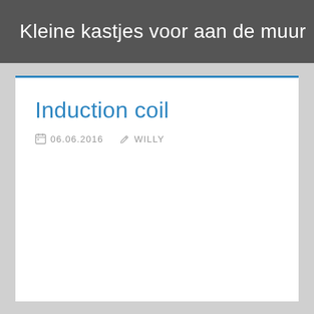Kleine kastjes voor aan de muur
Induction coil
06.06.2016   WILLY